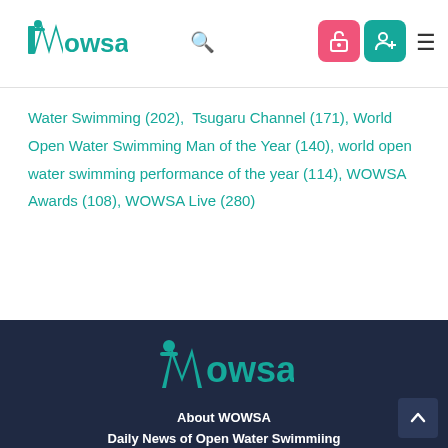WOWSA header with logo, search, icons, and menu
Water Swimming (202), Tsugaru Channel (171), World Open Water Swimming Man of the Year (140), world open water swimming performance of the year (114), WOWSA Awards (108), WOWSA Live (280)
About WOWSA | Daily News of Open Water Swimmiing | How to Register